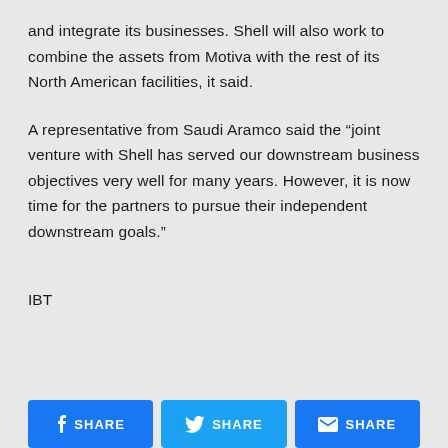and integrate its businesses. Shell will also work to combine the assets from Motiva with the rest of its North American facilities, it said.
A representative from Saudi Aramco said the “joint venture with Shell has served our downstream business objectives very well for many years. However, it is now time for the partners to pursue their independent downstream goals.”
IBT
[Figure (other): Social share buttons: Facebook SHARE, Twitter SHARE, Email SHARE]